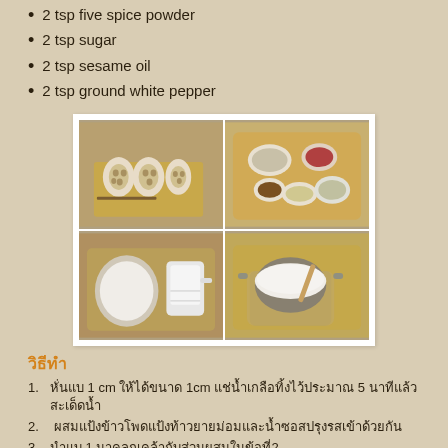2 tsp five spice powder
2 tsp sugar
2 tsp sesame oil
2 tsp ground white pepper
[Figure (photo): Four-panel food preparation photo: top-left shows sliced lotus root on a wooden cutting board; top-right shows bowls of various ingredients on a wooden tray; bottom-left shows a bowl of flour/powder and a measuring cup with water; bottom-right shows a pot with white liquid/milk and a wooden spoon on a wooden tray. Photobucket watermark visible.]
วิธีทำ
1. หั่นแบ 1 cm ให้ได้ขนาด 1cm แช่น้ำเกลือทิ้งไว้ประมาณ 5 นาทีแล้วสะเด็ดน้ำ
2.  ผสมแป้งข้าวโพดแป้งท้าวยายม่อมและน้ำซอสปรุงรสเข้าด้วยกัน
3. นำแบ 1 มาคลุกเคล้ากับส่วนผสมในข้อที่2